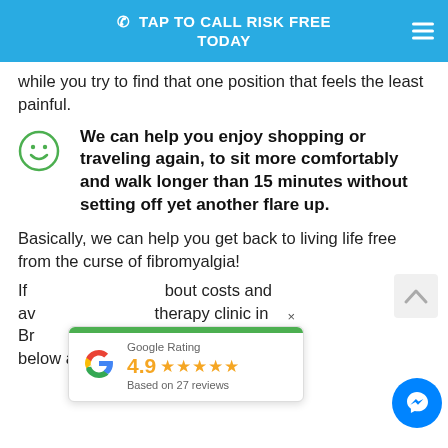TAP TO CALL RISK FREE TODAY
while you try to find that one position that feels the least painful.
We can help you enjoy shopping or traveling again, to sit more comfortably and walk longer than 15 minutes without setting off yet another flare up.
Basically, we can help you get back to living life free from the curse of fibromyalgia!
If [text obscured] bout costs and availability [text obscured] therapy clinic in Brighton [text obscured] just click the button below and complete the short form:
[Figure (infographic): Google Rating popup showing 4.9 stars based on 27 reviews, with a green progress bar at top and Google G logo]